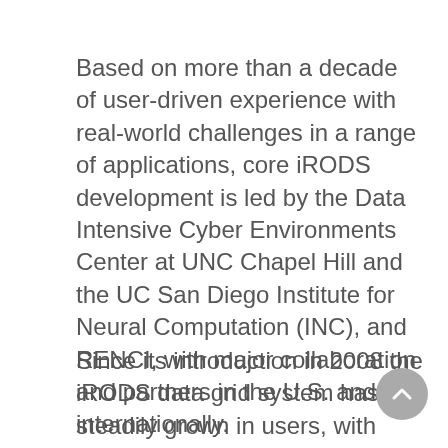Based on more than a decade of user-driven experience with real-world challenges in a range of applications, core iRODS development is led by the Data Intensive Cyber Environments Center at UNC Chapel Hill and the UC San Diego Institute for Neural Computation (INC), and RENCI, with major collaboration and partners in the U.S. and internationally.
Since its introduction in 2008 the iRODS data grid system has steadily grown in users, with more downloads with each release.  Making use of the significant set of iRODS generic capabilities, projects across the U.S. and international collaborations are